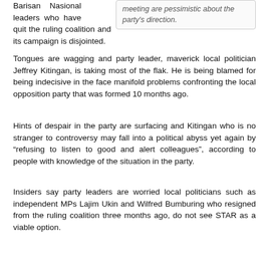Barisan Nasional leaders who have quit the ruling coalition and its campaign is disjointed.
meeting are pessimistic about the party's direction.
Tongues are wagging and party leader, maverick local politician Jeffrey Kitingan, is taking most of the flak. He is being blamed for being indecisive in the face manifold problems confronting the local opposition party that was formed 10 months ago.
Hints of despair in the party are surfacing and Kitingan who is no stranger to controversy may fall into a political abyss yet again by “refusing to listen to good and alert colleagues”, according to people with knowledge of the situation in the party.
Insiders say party leaders are worried local politicians such as independent MPs Lajim Ukin and Wilfred Bumburing who resigned from the ruling coalition three months ago, do not see STAR as a viable option.
While it is widely known that BN component parties like Umno, Parti Bersatu Sabah (PBS) and the United Pasokmomogun Kadazandusun Murut organisation (Upko) are experiencing a leak in their membership, the former BN parties’ supporters are shunning the local opposition parties for PKR.
The latest example is former Lahad Datu PBS strongman, Mohamadin Ketapi, who like Bumburing and Lajim, is known to have met Kitingan a